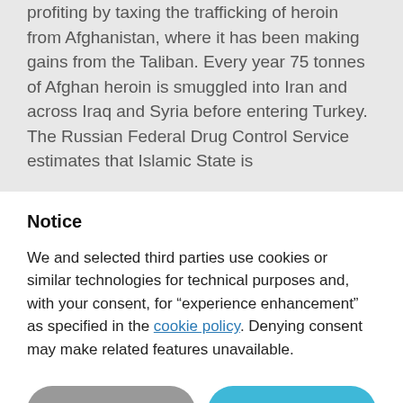profiting by taxing the trafficking of heroin from Afghanistan, where it has been making gains from the Taliban. Every year 75 tonnes of Afghan heroin is smuggled into Iran and across Iraq and Syria before entering Turkey. The Russian Federal Drug Control Service estimates that Islamic State is
Notice
We and selected third parties use cookies or similar technologies for technical purposes and, with your consent, for “experience enhancement” as specified in the cookie policy. Denying consent may make related features unavailable.